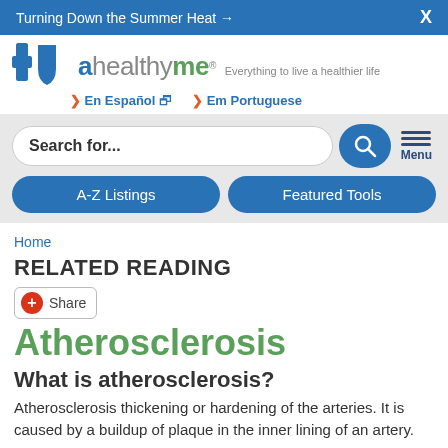Turning Down the Summer Heat →   X
[Figure (logo): Blue Cross Blue Shield plus ahealthyme logo with tagline 'Everything to live a healthier life']
En Español    Em Portuguese
Search for...  A-Z Listings  Featured Tools  Menu
Home
RELATED READING
Share
Atherosclerosis
What is atherosclerosis?
Atherosclerosis thickening or hardening of the arteries. It is caused by a buildup of plaque in the inner lining of an artery.